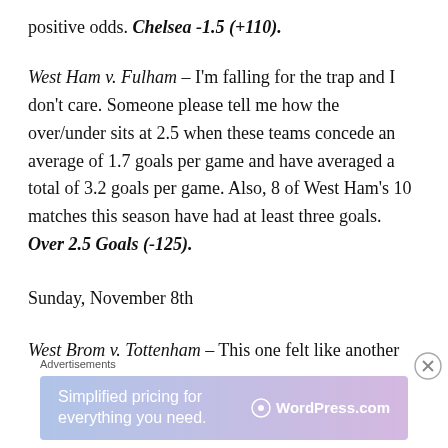positive odds. Chelsea -1.5 (+110).
West Ham v. Fulham – I'm falling for the trap and I don't care. Someone please tell me how the over/under sits at 2.5 when these teams concede an average of 1.7 goals per game and have averaged a total of 3.2 goals per game. Also, 8 of West Ham's 10 matches this season have had at least three goals. Over 2.5 Goals (-125).
Sunday, November 8th
West Brom v. Tottenham – This one felt like another
[Figure (infographic): WordPress.com advertisement banner: 'Simplified pricing for everything you need.' with WordPress.com logo]